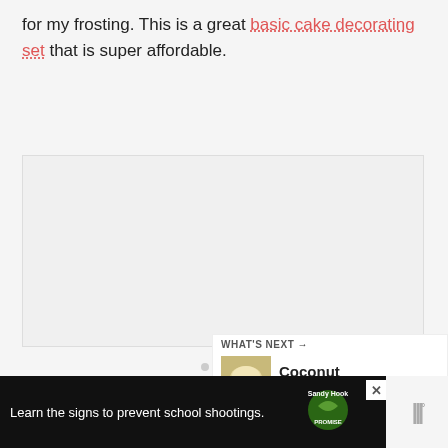for my frosting. This is a great basic cake decorating set that is super affordable.
[Figure (other): Empty content area with three dots indicating a loading or carousel placeholder]
[Figure (infographic): Sidebar UI with heart/like button showing 11.2K likes and a share button]
[Figure (other): What's Next section showing Coconut Cupcakes wi... with thumbnail]
[Figure (other): Advertisement banner: Learn the signs to prevent school shootings. Sandy Hook Promise logo]